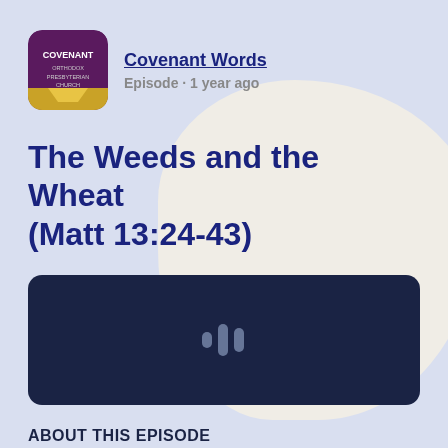[Figure (logo): Covenant Orthodox Presbyterian Church podcast logo — dark purple/maroon background with gold banner at bottom, text COVENANT ORTHODOX PRESBYTERIAN CHURCH]
Covenant Words
Episode · 1 year ago
The Weeds and the Wheat (Matt 13:24-43)
[Figure (other): Dark navy audio player widget with waveform icon in the center]
ABOUT THIS EPISODE